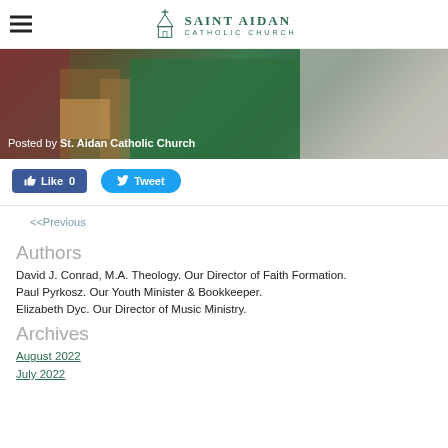Saint Aidan Catholic Church
[Figure (photo): Interior of a church room with a person in green vestments and wooden furniture. Text overlay reads: Posted by St. Aidan Catholic Church]
Posted by St. Aidan Catholic Church
Like 0   Tweet
<<Previous
Authors
David J. Conrad, M.A. Theology. Our Director of Faith Formation.
Paul Pyrkosz. Our Youth Minister & Bookkeeper.
Elizabeth Dyc. Our Director of Music Ministry.
Archives
August 2022
July 2022